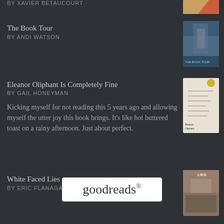BY XAVIER BETAUCOURT
[Figure (photo): Book cover thumbnail at top right, partially cropped]
The Book Tour
BY ANDI WATSON
[Figure (photo): Book cover for The Book Tour by Andi Watson]
Eleanor Oliphant Is Completely Fine
BY GAIL HONEYMAN
Kicking myself for not reading this 5 years ago and allowing myself the utter joy this book brings. It's like hot buttered toast on a rainy afternoon. Just about perfect.
[Figure (photo): Book cover for Eleanor Oliphant Is Completely Fine by Gail Honeyman]
White Faced Lies
BY ERIC FLANAGAN
[Figure (photo): Book cover for White Faced Lies by Eric Flanagan]
[Figure (logo): Goodreads logo in white rounded rectangle]